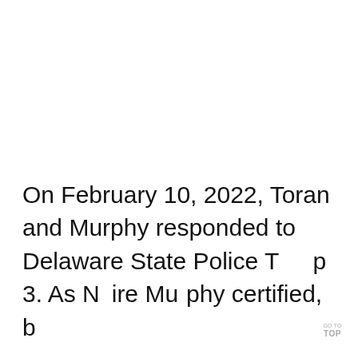On February 10, 2022, Toran and Murphy responded to Delaware State Police Troop 3. As Nitire Murphy certified, b